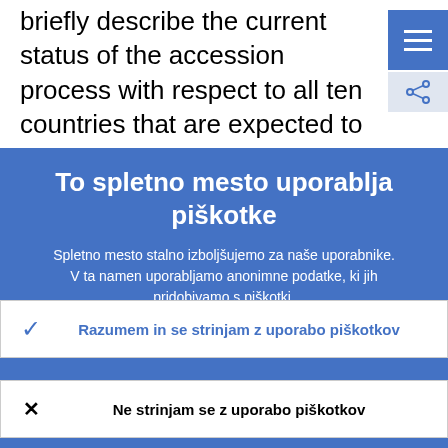briefly describe the current status of the accession process with respect to all ten countries that are expected to join the EU May 2004. The focus is here on the subjects
To spletno mesto uporablja piškotke
Spletno mesto stalno izboljšujemo za naše uporabnike. V ta namen uporabljamo anonimne podatke, ki jih pridobivamo s piškotki.
› Več o tem, kako uporabljamo piškotke
✓ Razumem in se strinjam z uporabo piškotkov
✕ Ne strinjam se z uporabo piškotkov